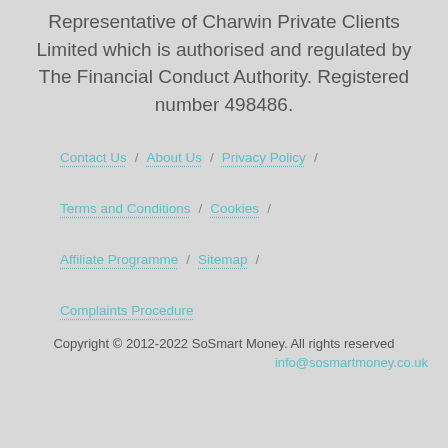Representative of Charwin Private Clients Limited which is authorised and regulated by The Financial Conduct Authority. Registered number 498486.
Contact Us / About Us / Privacy Policy /
Terms and Conditions / Cookies /
Affiliate Programme / Sitemap /
Complaints Procedure
Copyright © 2012-2022 SoSmart Money. All rights reserved
info@sosmartmoney.co.uk